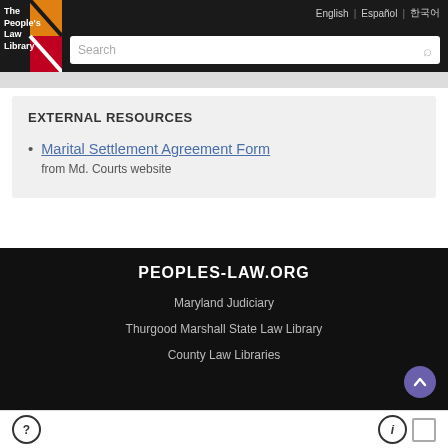The People's Law Library | English | Español | 한국어 | Search
EXTERNAL RESOURCES
Marital Settlement Agreement Form
from Md. Courts website
PEOPLES-LAW.ORG
Maryland Judiciary
Thurgood Marshall State Law Library
County Law Libraries